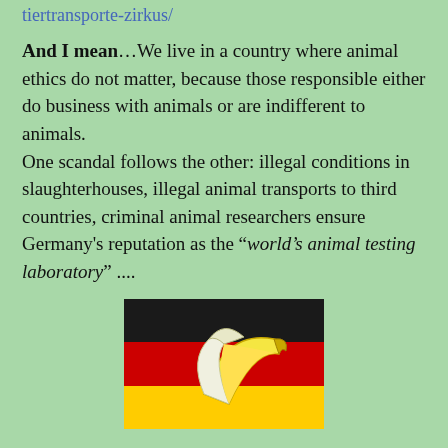tiertransporte-zirkus/
And I mean…We live in a country where animal ethics do not matter, because those responsible either do business with animals or are indifferent to animals.
One scandal follows the other: illegal conditions in slaughterhouses, illegal animal transports to third countries, criminal animal researchers ensure Germany's reputation as the "world's animal testing laboratory" ....
[Figure (illustration): German flag (black, red, gold horizontal stripes) with a peeled banana overlaid on it, suggesting Germany as a 'banana republic'.]
We are ruled by a pack of lobbyists in this